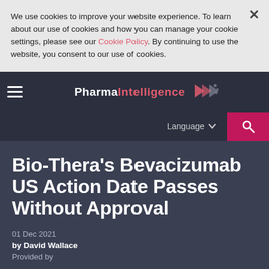We use cookies to improve your website experience.  To learn about our use of cookies and how you can manage your cookie settings, please see our Cookie Policy.  By continuing to use the website, you consent to our use of cookies.
Pharma Intelligence
Bio-Thera's Bevacizumab US Action Date Passes Without Approval
01 Dec 2021
by David Wallace